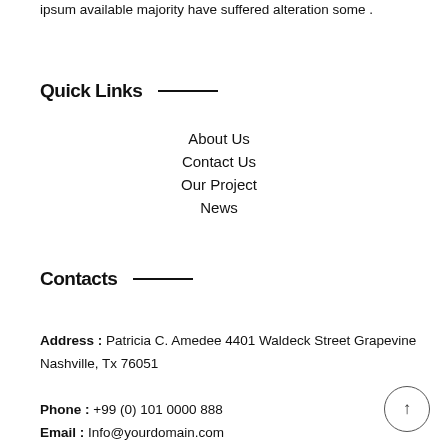ipsum available majority have suffered alteration some .
Quick Links
About Us
Contact Us
Our Project
News
Contacts
Address : Patricia C. Amedee 4401 Waldeck Street Grapevine Nashville, Tx 76051
Phone : +99 (0) 101 0000 888
Email : Info@yourdomain.com